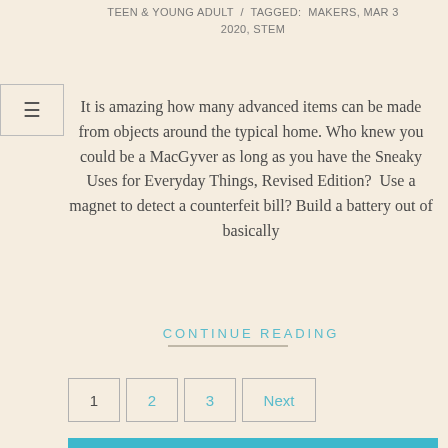TEEN & YOUNG ADULT  /  TAGGED: MAKERS, MAR 3 2020, STEM
It is amazing how many advanced items can be made from objects around the typical home. Who knew you could be a MacGyver as long as you have the Sneaky Uses for Everyday Things, Revised Edition?  Use a magnet to detect a counterfeit bill? Build a battery out of basically
CONTINUE READING
1
2
3
Next
CATEGORIES
Audiobooks (9)